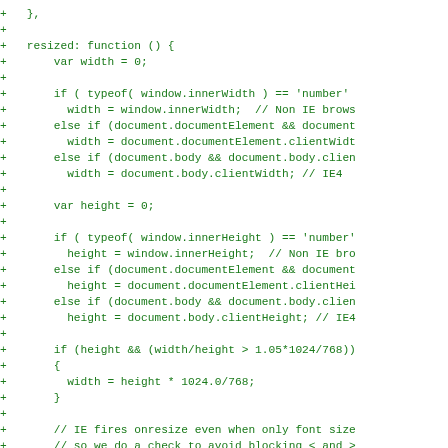Code diff showing resized function implementation with width/height detection logic